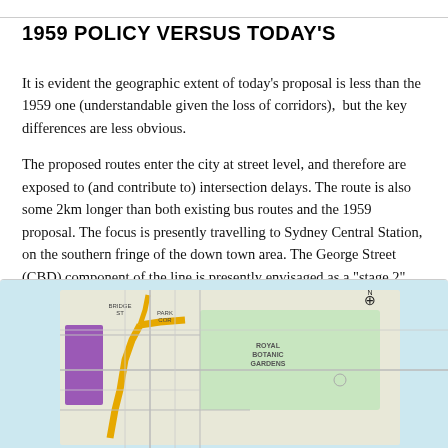1959 POLICY VERSUS TODAY'S
It is evident the geographic extent of today's proposal is less than the 1959 one (understandable given the loss of corridors),  but the key differences are less obvious.
The proposed routes enter the city at street level, and therefore are exposed to (and contribute to) intersection delays. The route is also some 2km longer than both existing bus routes and the 1959 proposal. The focus is presently travelling to Sydney Central Station, on the southern fringe of the down town area. The George Street (CBD) component of the line is presently envisaged as a "stage 2".
[Figure (map): Street map showing part of Sydney city area with highlighted transit routes in yellow/orange, a purple block on the left, and a light green area labeled Royal Botanic Gardens. Light blue background indicating water areas.]